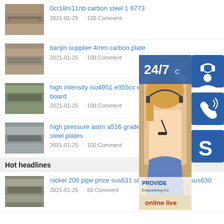0cr18ni11nb carbon steel 1 6773
2021-01-25    100 Comment
tianjin supplier 4mm carbon plate
2021-01-25    100 Comment
high intensity iso4951 e355cc e3 board
2021-01-25    100 Comment
high pressure astm a516 grade 6 steel plates
2021-01-25    100 Comment
[Figure (infographic): Customer service widget overlay showing 24/7 support badge, a woman with headset, phone icon, Skype icon, and online live button]
Hot headlines
nickel 200 pipe price sus631 stainless steel pipe sus630
2021-01-25    50 Comment